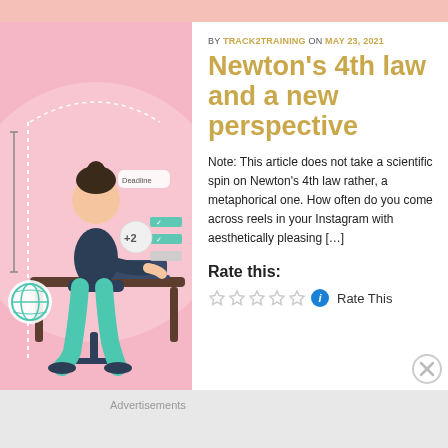BY TRACK2TRAINING ON MAY 23, 2021
Newton's 4th law and a new perspective
Note: This article does not take a scientific spin on Newton's 4th law rather, a metaphorical one. How often do you come across reels in your Instagram with aesthetically pleasing […]
Rate this:
Rate This
[Figure (illustration): Illustration of a woman sitting at a desk working on a laptop, surrounded by icons including a globe, checklist items, a clock showing 'Deadline', and a '+2' bubble. Pink and teal color scheme.]
Advertisements